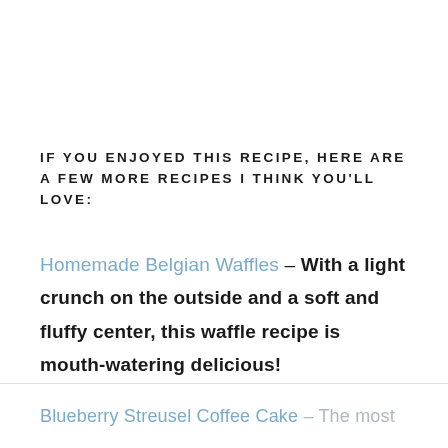IF YOU ENJOYED THIS RECIPE, HERE ARE A FEW MORE RECIPES I THINK YOU'LL LOVE:
Homemade Belgian Waffles – With a light crunch on the outside and a soft and fluffy center, this waffle recipe is mouth-watering delicious!
Blueberry Streusel Coffee Cake – The most